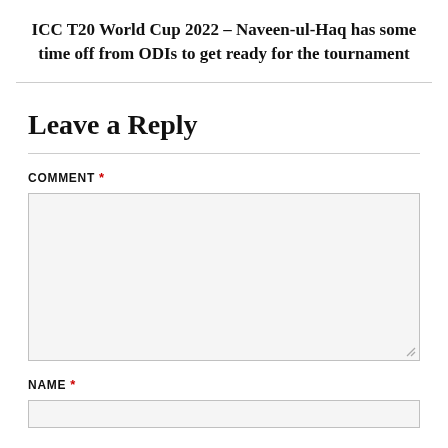ICC T20 World Cup 2022 – Naveen-ul-Haq has some time off from ODIs to get ready for the tournament
Leave a Reply
COMMENT *
NAME *